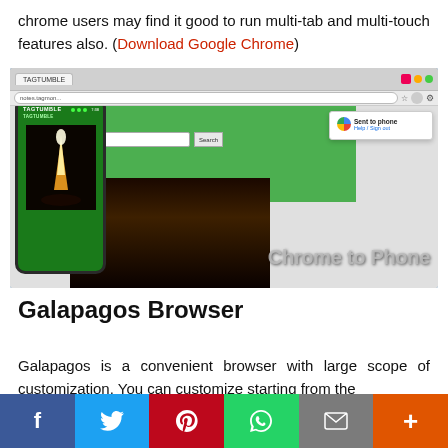chrome users may find it good to run multi-tab and multi-touch features also. (Download Google Chrome)
[Figure (screenshot): Screenshot of Chrome browser showing TagTumble website with a Chrome to Phone extension popup, and an Android phone displaying the TagTumble app, with 'Chrome to Phone' text overlay]
Galapagos Browser
Galapagos is a convenient browser with large scope of customization. You can customize starting from the
[Figure (other): Social sharing bar with Facebook, Twitter, Pinterest, WhatsApp, Email, and More buttons]